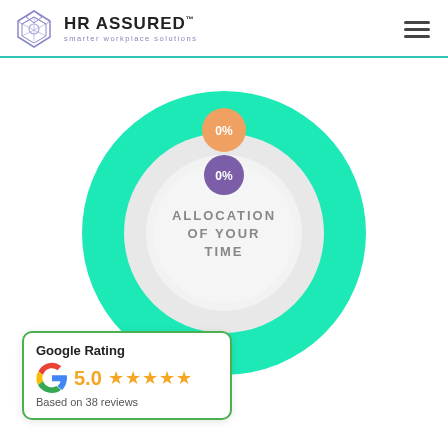HR ASSURED - smarter workplace solutions
[Figure (donut-chart): Donut chart showing allocation of your time. Two legend circles visible: orange 0% and purple 0%. Chart is mostly teal/gray with no allocation shown.]
Google Rating
5.0 ★★★★★
Based on 38 reviews